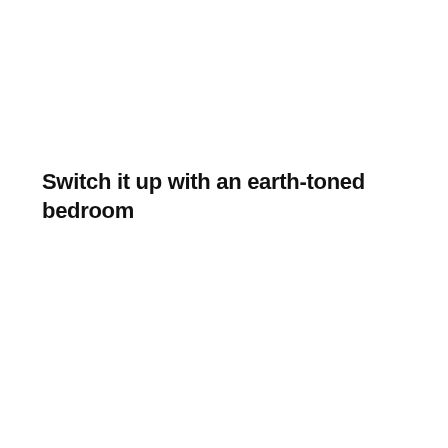Switch it up with an earth-toned bedroom